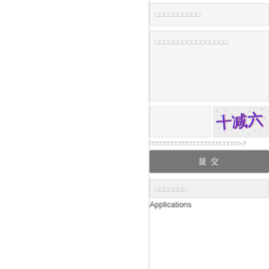[Figure (screenshot): Left white panel with vertical divider line]
□□□□□□□□□□
□□□□□□□□□□□□□□□□
[Figure (screenshot): Captcha input box and captcha image showing Chinese characters 十减六 with colorful background]
□□□□□□□□□□□□□□□□□□□□□□□□=7
提 交
□□□□□□□
Applications